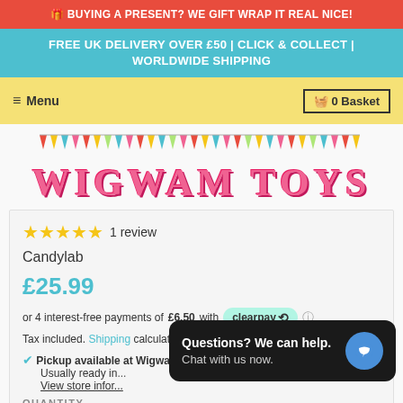🎁 BUYING A PRESENT? WE GIFT WRAP IT REAL NICE!
FREE UK DELIVERY OVER £50 | CLICK & COLLECT | WORLDWIDE SHIPPING
≡ Menu   🧺 0 Basket
[Figure (illustration): Colorful bunting triangles decoration row]
WIGWAM TOYS
★★★★★ 1 review
Candylab
£25.99
or 4 interest-free payments of £6.50 with  clearpay ⓘ
Tax included. Shipping calculated at checkout.
✅ Pickup available at Wigwam Toys Shop
Usually ready in
View store infor...
QUANTITY
Questions? We can help.
Chat with us now.